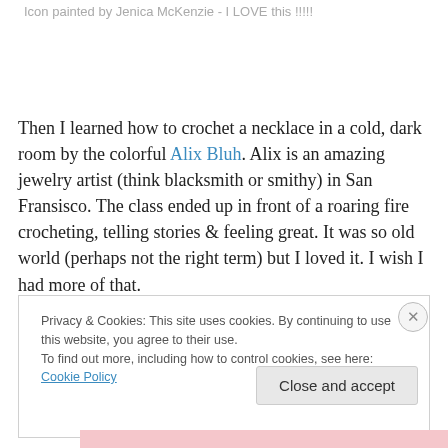Icon painted by Jenica McKenzie - I LOVE this !!!!!
Then I learned how to crochet a necklace in a cold, dark room by the colorful Alix Bluh. Alix is an amazing jewelry artist (think blacksmith or smithy) in San Fransisco. The class ended up in front of a roaring fire crocheting, telling stories & feeling great. It was so old world (perhaps not the right term) but I loved it. I wish I had more of that.
Privacy & Cookies: This site uses cookies. By continuing to use this website, you agree to their use.
To find out more, including how to control cookies, see here: Cookie Policy
Close and accept